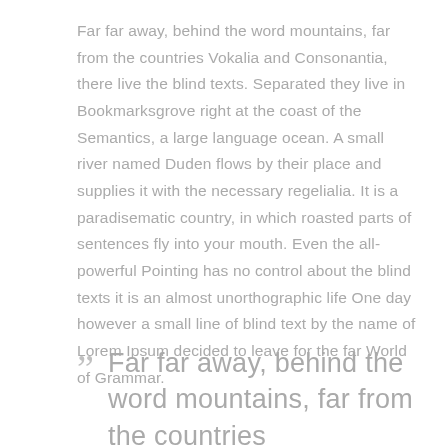Far far away, behind the word mountains, far from the countries Vokalia and Consonantia, there live the blind texts. Separated they live in Bookmarksgrove right at the coast of the Semantics, a large language ocean. A small river named Duden flows by their place and supplies it with the necessary regelialia. It is a paradisematic country, in which roasted parts of sentences fly into your mouth. Even the all-powerful Pointing has no control about the blind texts it is an almost unorthographic life One day however a small line of blind text by the name of Lorem Ipsum decided to leave for the far World of Grammar.
Far far away, behind the word mountains, far from the countries